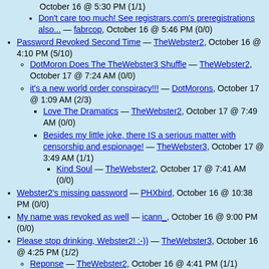October 16 @ 5:30 PM (1/1)
Don't care too much! See registrars.com's preregistrations also... — fabrcop, October 16 @ 5:46 PM (0/0)
Password Revoked Second Time — TheWebster2, October 16 @ 4:10 PM (5/10)
DotMoron Does The TheWebster3 Shuffle — TheWebster2, October 17 @ 7:24 AM (0/0)
it's a new world order conspiracy!!! — DotMorons, October 17 @ 1:09 AM (2/3)
Love The Dramatics — TheWebster2, October 17 @ 7:49 AM (0/0)
Besides my little joke, there IS a serious matter with censorship and espionage! — TheWebster3, October 17 @ 3:49 AM (1/1)
Kind Soul — TheWebster2, October 17 @ 7:41 AM (0/0)
Webster2's missing password — PHXbird, October 16 @ 10:38 PM (0/0)
My name was revoked as well — icann_, October 16 @ 9:00 PM (0/0)
Please stop drinking, Webster2!  :-)) — TheWebster3, October 16 @ 4:25 PM (1/2)
Reponse — TheWebster2, October 16 @ 4:41 PM (1/1)